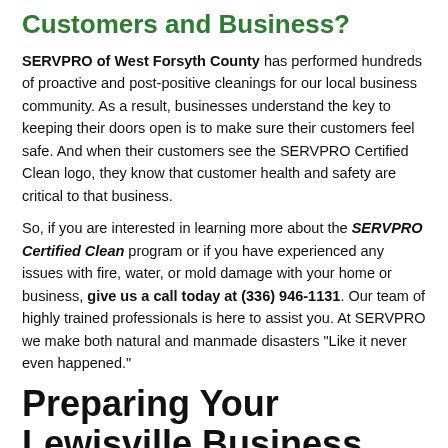Customers and Business?
SERVPRO of West Forsyth County has performed hundreds of proactive and post-positive cleanings for our local business community. As a result, businesses understand the key to keeping their doors open is to make sure their customers feel safe. And when their customers see the SERVPRO Certified Clean logo, they know that customer health and safety are critical to that business.
So, if you are interested in learning more about the SERVPRO Certified Clean program or if you have experienced any issues with fire, water, or mold damage with your home or business, give us a call today at (336) 946-1131. Our team of highly trained professionals is here to assist you. At SERVPRO we make both natural and manmade disasters "Like it never even happened."
Preparing Your Lewisville Business Survive a Disaster